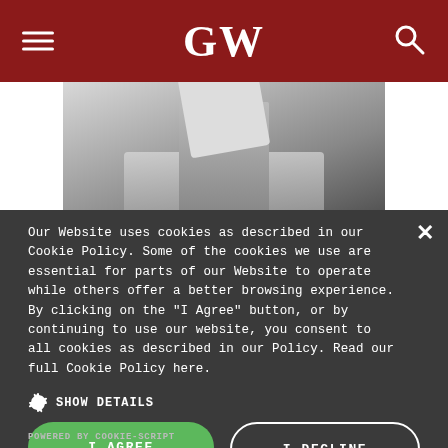GW
[Figure (photo): Black and white photo of a person in a suit reading or holding papers]
Our Website uses cookies as described in our Cookie Policy. Some of the cookies we use are essential for parts of our Website to operate while others offer a better browsing experience. By clicking on the "I Agree" button, or by continuing to use our website, you consent to all cookies as described in our Policy. Read our full Cookie Policy here.
SHOW DETAILS
I AGREE
I DECLINE
POWERED BY COOKIE-SCRIPT